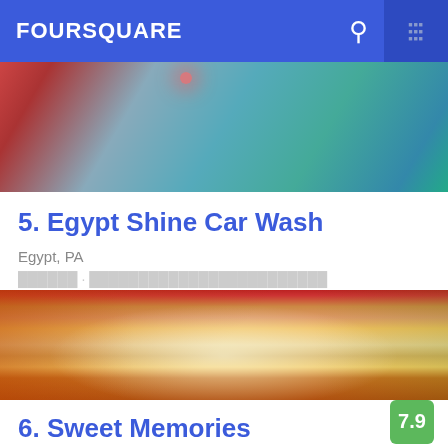FOURSQUARE
[Figure (photo): Car wash exterior with colorful reflective surfaces in red and teal/blue tones with a red light reflection]
5. Egypt Shine Car Wash
Egypt, PA
██████ · ████████████████████████
[Figure (photo): Close-up photo of a slice of layered coconut cake on a colorful plate with red and green plates in the background]
6. Sweet Memories